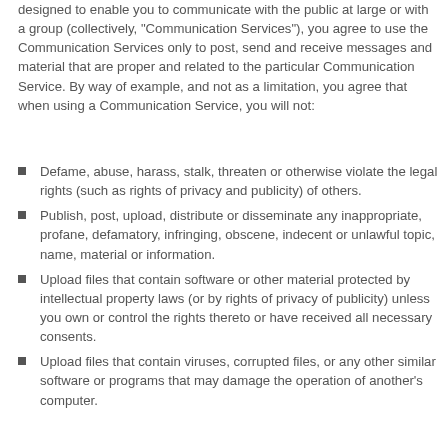designed to enable you to communicate with the public at large or with a group (collectively, "Communication Services"), you agree to use the Communication Services only to post, send and receive messages and material that are proper and related to the particular Communication Service. By way of example, and not as a limitation, you agree that when using a Communication Service, you will not:
Defame, abuse, harass, stalk, threaten or otherwise violate the legal rights (such as rights of privacy and publicity) of others.
Publish, post, upload, distribute or disseminate any inappropriate, profane, defamatory, infringing, obscene, indecent or unlawful topic, name, material or information.
Upload files that contain software or other material protected by intellectual property laws (or by rights of privacy of publicity) unless you own or control the rights thereto or have received all necessary consents.
Upload files that contain viruses, corrupted files, or any other similar software or programs that may damage the operation of another's computer.